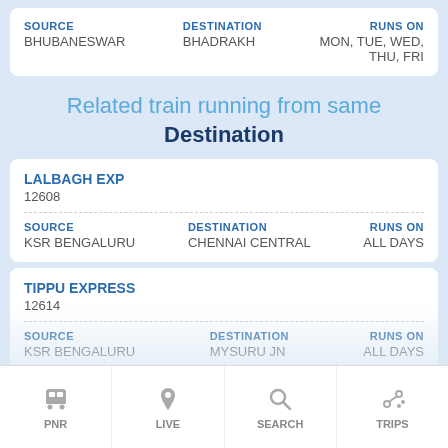| SOURCE | DESTINATION | RUNS ON |
| --- | --- | --- |
| BHUBANESWAR | BHADRAKH | MON, TUE, WED, THU, FRI |
Related train running from same Destination
LALBAGH EXP
12608
| SOURCE | DESTINATION | RUNS ON |
| --- | --- | --- |
| KSR BENGALURU | CHENNAI CENTRAL | ALL DAYS |
TIPPU EXPRESS
12614
| SOURCE | DESTINATION | RUNS ON |
| --- | --- | --- |
| KSR BENGALURU | MYSURU JN | ALL DAYS |
KARA KA EXP
1262...
PNR | LIVE | SEARCH | TRIPS